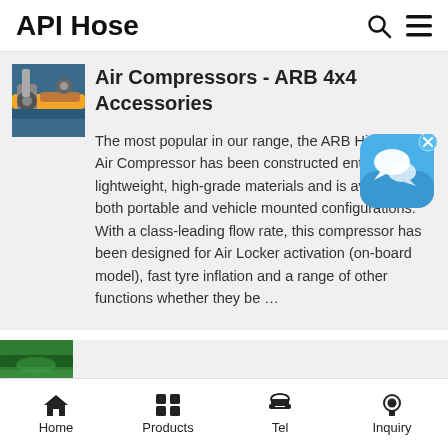API Hose
[Figure (photo): Thumbnail photo of air compressor hose equipment with yellow fittings]
Air Compressors - ARB 4x4 Accessories
The most popular in our range, the ARB High Output Air Compressor has been constructed entirely of lightweight, high-grade materials and is available in both portable and vehicle mounted configurations. With a class-leading flow rate, this compressor has been designed for Air Locker activation (on-board model), fast tyre inflation and a range of other functions whether they be …
[Figure (screenshot): Blue chat/messaging app icon with speech bubble, with X close button]
[Figure (photo): Partial thumbnail of green hose product]
Home  Products  Tel  Inquiry